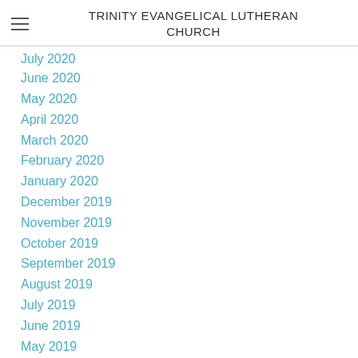TRINITY EVANGELICAL LUTHERAN CHURCH
July 2020
June 2020
May 2020
April 2020
March 2020
February 2020
January 2020
December 2019
November 2019
October 2019
September 2019
August 2019
July 2019
June 2019
May 2019
April 2019
March 2019